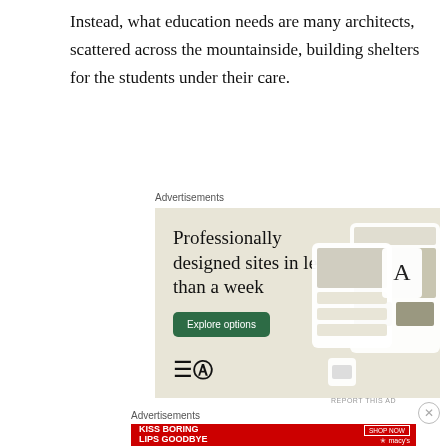Instead, what education needs are many architects, scattered across the mountainside, building shelters for the students under their care.
Advertisements
[Figure (other): WordPress advertisement banner showing 'Professionally designed sites in less than a week' with an Explore options button and website mockup images on a beige background with WordPress logo]
Advertisements
[Figure (other): Macy's advertisement banner showing 'KISS BORING LIPS GOODBYE' with a woman's face and red lips, SHOP NOW button and Macy's logo on red background]